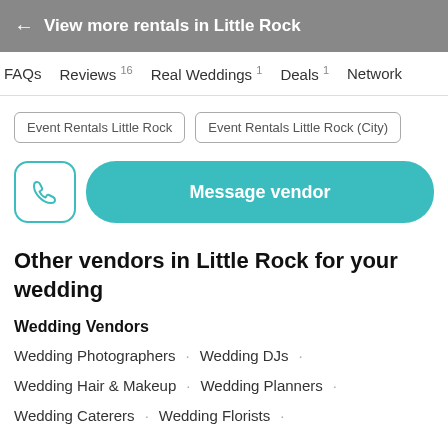← View more rentals in Little Rock
FAQs   Reviews 16   Real Weddings 1   Deals 1   Network
Event Rentals Little Rock   Event Rentals Little Rock (City)
[Figure (other): Phone icon button and Message vendor button]
Other vendors in Little Rock for your wedding
Wedding Vendors
Wedding Photographers · Wedding DJs ·
Wedding Hair & Makeup · Wedding Planners ·
Wedding Caterers · Wedding Florists ·